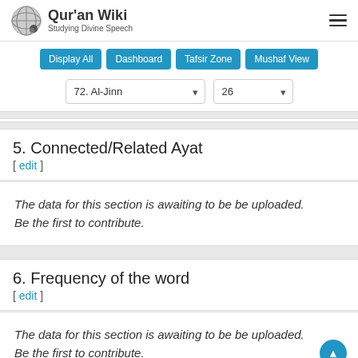Qur'an Wiki – Studying Divine Speech
Display All | Dashboard | Tafsir Zone | Mushaf View
72. Al-Jinn | 26
5. Connected/Related Ayat [ edit ]
The data for this section is awaiting to be be uploaded. Be the first to contribute.
6. Frequency of the word [ edit ]
The data for this section is awaiting to be be uploaded. Be the first to contribute.